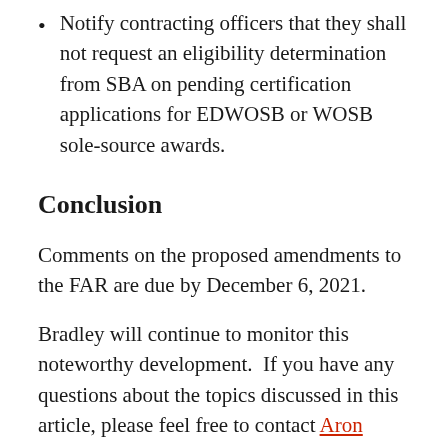Notify contracting officers that they shall not request an eligibility determination from SBA on pending certification applications for EDWOSB or WOSB sole-source awards.
Conclusion
Comments on the proposed amendments to the FAR are due by December 6, 2021.
Bradley will continue to monitor this noteworthy development.  If you have any questions about the topics discussed in this article, please feel free to contact Aron Beezley or Sarah Osborne.